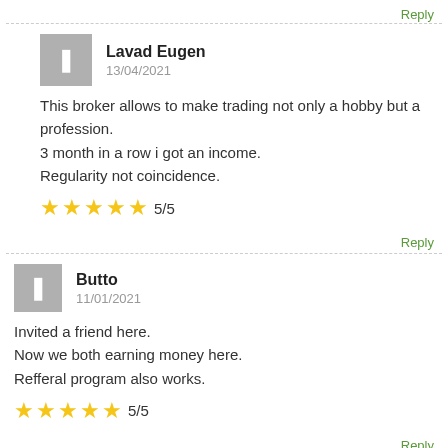Reply
Lavad Eugen
13/04/2021
This broker allows to make trading not only a hobby but a profession.
3 month in a row i got an income.
Regularity not coincidence.
★★★★★ 5/5
Reply
Butto
11/01/2021
Invited a friend here.
Now we both earning money here.
Refferal program also works.
★★★★★ 5/5
Reply
Engesha